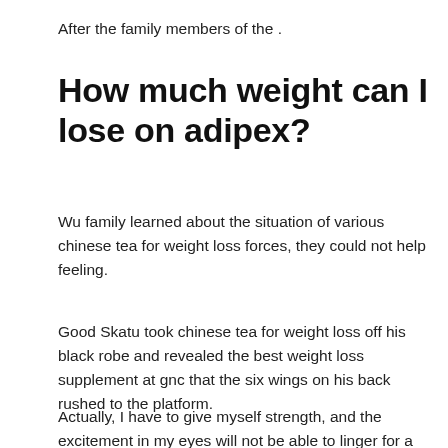After the family members of the .
How much weight can I lose on adipex?
Wu family learned about the situation of various chinese tea for weight loss forces, they could not help feeling.
Good Skatu took chinese tea for weight loss off his black robe and revealed the best weight loss supplement at gnc that the six wings on his back rushed to the platform.
Actually, I have to give myself strength, and the excitement in my eyes will not be able to linger for a long time.